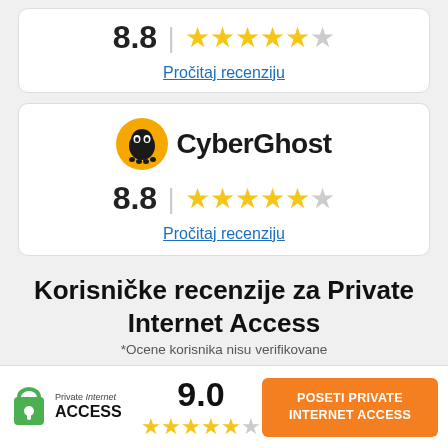[Figure (infographic): Rating card with score 8.8 and 4.5 stars]
Pročitaj recenziju
[Figure (logo): CyberGhost logo with ghost icon]
[Figure (infographic): Rating card with score 8.8 and 4.5 stars]
Pročitaj recenziju
Korisničke recenzije za Private Internet Access
*Ocene korisnika nisu verifikovane
[Figure (logo): Private Internet Access logo]
9.0
POSETI PRIVATE INTERNET ACCESS